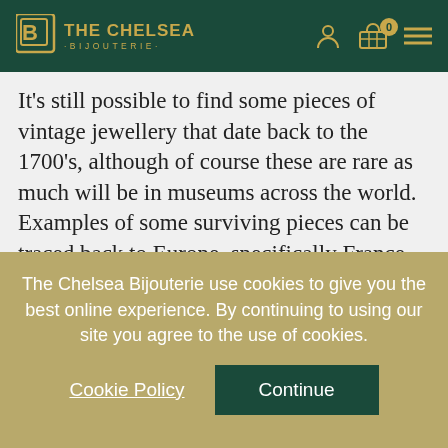THE CHELSEA ·BIJOUTERIE·
It's still possible to find some pieces of vintage jewellery that date back to the 1700's, although of course these are rare as much will be in museums across the world. Examples of some surviving pieces can be traced back to Europe, specifically France, England, Sweden, and The Netherlands. There are a few pieces hailing from the United States too. Here are some well-known vintage jewellery designers of this time
The Chelsea Bijouterie use cookies to give you the best online experience. By continuing to using our site you agree to the use of cookies.
Cookie Policy
Continue